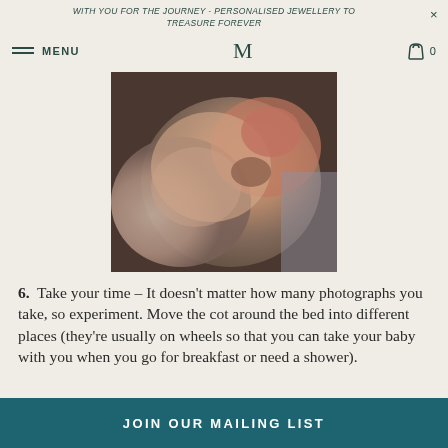WITH YOU FOR THE JOURNEY - PERSONALISED JEWELLERY TO TREASURE FOREVER
MENU | Logo | 0
[Figure (photo): Close-up photo of a newborn baby's face, slightly blurred, warm tones]
6.  Take your time – It doesn't matter how many photographs you take, so experiment. Move the cot around the bed into different places (they're usually on wheels so that you can take your baby with you when you go for breakfast or need a shower).
JOIN OUR MAILING LIST